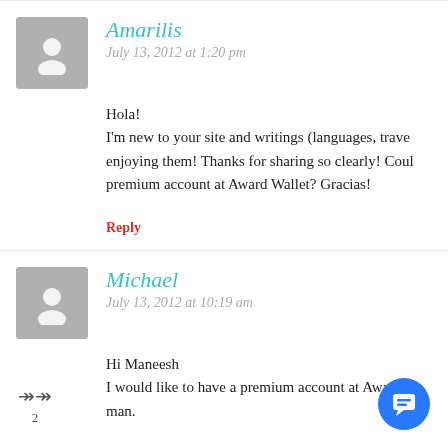Amarilis
July 13, 2012 at 1:20 pm
Hola!
I'm new to your site and writings (languages, trave enjoying them! Thanks for sharing so clearly! Coul premium account at Award Wallet? Gracias!
Reply
Michael
July 13, 2012 at 10:19 am
Hi Maneesh
I would like to have a premium account at AwardW man.